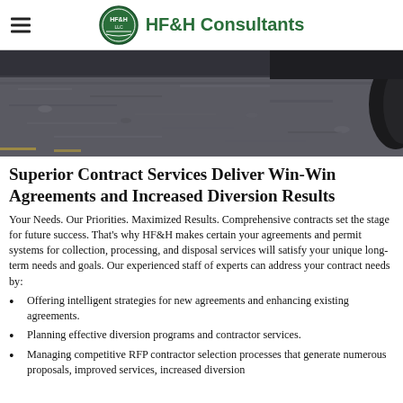HF&H Consultants
[Figure (photo): Close-up ground-level photo of asphalt/gravel road surface with partial view of a vehicle tire on the right edge, dark moody tones.]
Superior Contract Services Deliver Win-Win Agreements and Increased Diversion Results
Your Needs. Our Priorities. Maximized Results. Comprehensive contracts set the stage for future success. That's why HF&H makes certain your agreements and permit systems for collection, processing, and disposal services will satisfy your unique long-term needs and goals. Our experienced staff of experts can address your contract needs by:
Offering intelligent strategies for new agreements and enhancing existing agreements.
Planning effective diversion programs and contractor services.
Managing competitive RFP contractor selection processes that generate numerous proposals, improved services, increased diversion